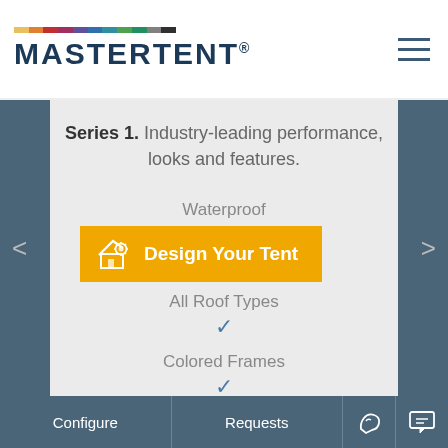[Figure (logo): Mastertent logo with colored bar above text]
Series 1. Industry-leading performance, looks and features.
Waterproof
[Figure (infographic): Design Your Tent banner with house/gear icon in orange]
All Roof Types
Colored Frames
Fire-Retardant
Configure  Requests